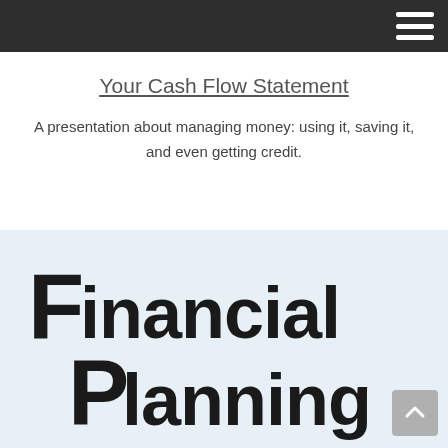Your Cash Flow Statement
A presentation about managing money: using it, saving it, and even getting credit.
[Figure (illustration): Large bold stylized text reading 'Financial Planning' in dark/black lettering on a light blue background, cropped so only the top portion is visible.]